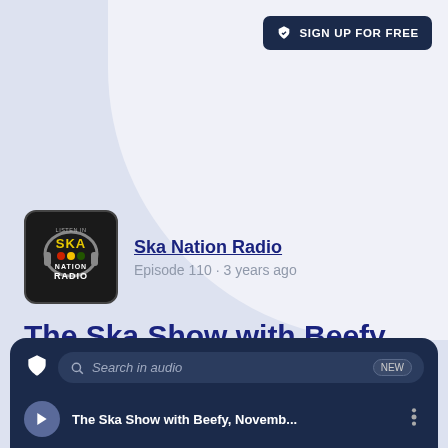SIGN UP FOR FREE
[Figure (logo): Ska Nation Radio podcast logo - circular logo with ska text and radio imagery]
Ska Nation Radio
Episode 110 · 3 years ago
The Ska Show with Beefy, November 22nd 2018
[Figure (screenshot): Podcast player UI with dark navy background, search bar, and episode title The Ska Show with Beefy, Novemb...]